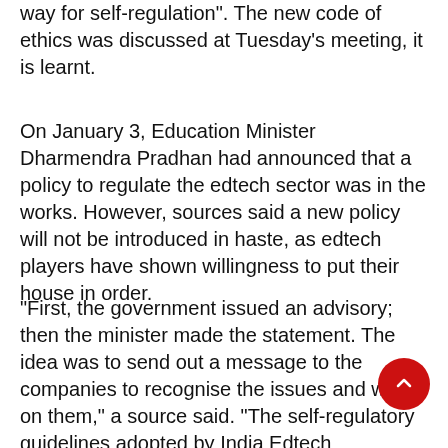way for self-regulation". The new code of ethics was discussed at Tuesday's meeting, it is learnt.
On January 3, Education Minister Dharmendra Pradhan had announced that a policy to regulate the edtech sector was in the works. However, sources said a new policy will not be introduced in haste, as edtech players have shown willingness to put their house in order.
“First, the government issued an advisory; then the minister made the statement. The idea was to send out a message to the companies to recognise the issues and work on them,” a source said. “The self-regulatory guidelines adopted by India Edtech Consortium is a welcome step."